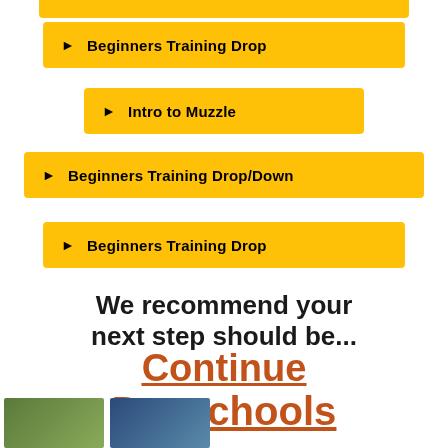▶ Beginners Training Drop
▶ Intro to Muzzle
▶ Beginners Training Drop/Down
▶ Beginners Training Drop
We recommend your next step should be...
Continue Dayschools
[Figure (photo): Two small photos side by side at bottom of page]